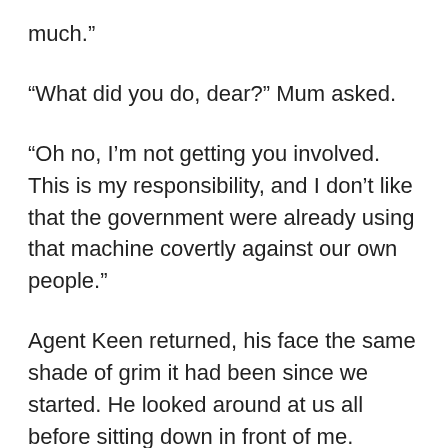much.”
“What did you do, dear?” Mum asked.
“Oh no, I’m not getting you involved. This is my responsibility, and I don’t like that the government were already using that machine covertly against our own people.”
Agent Keen returned, his face the same shade of grim it had been since we started. He looked around at us all before sitting down in front of me.
“Okay, that’s the first sensible thing you’ve done today. Let’s see if we can make it the first of many.” He held up a USB drive. “Is this what you